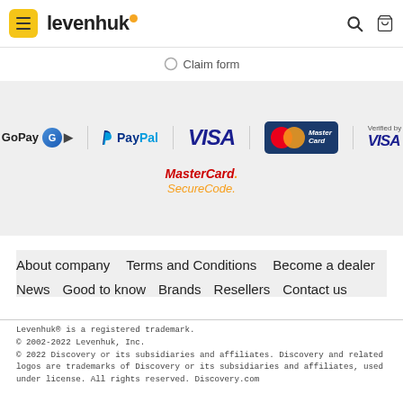levenhuk
Claim form
[Figure (logo): Payment provider logos: GoPay, PayPal, VISA, MasterCard, Verified by VISA, MasterCard SecureCode]
About company
Terms and Conditions
Become a dealer
News
Good to know
Brands
Resellers
Contact us
Levenhuk® is a registered trademark.
© 2002-2022 Levenhuk, Inc.
© 2022 Discovery or its subsidiaries and affiliates. Discovery and related logos are trademarks of Discovery or its subsidiaries and affiliates, used under license. All rights reserved. Discovery.com